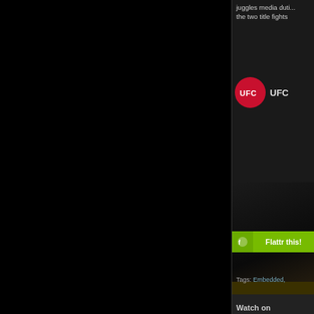[Figure (screenshot): Large black area on the left side of the page, occupying roughly 3/4 of the page width]
juggles media duti... the two title fights
[Figure (logo): UFC logo - red circle with white UFC text]
UFC
[Figure (screenshot): Dark video thumbnail with brown/yellow bar at bottom]
Watch on
Flattr this!
Tags: Embedded,